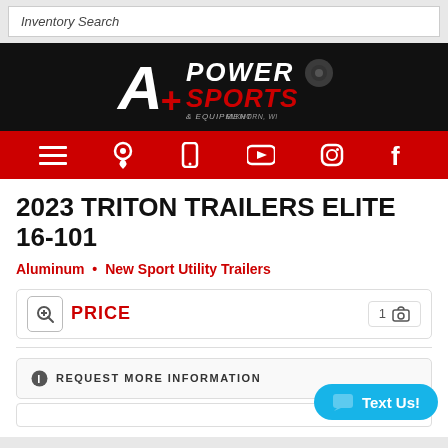Inventory Search
[Figure (logo): A+ Power Sports & Equipment logo on black background, Elkhorn WI]
[Figure (other): Red navigation bar with hamburger menu, location pin, phone, YouTube, Instagram, and Facebook icons]
2023 TRITON TRAILERS ELITE 16-101
Aluminum • New Sport Utility Trailers
CALL FOR PRICE
REQUEST MORE INFORMATION
[Figure (other): Text Us! blue chat button]